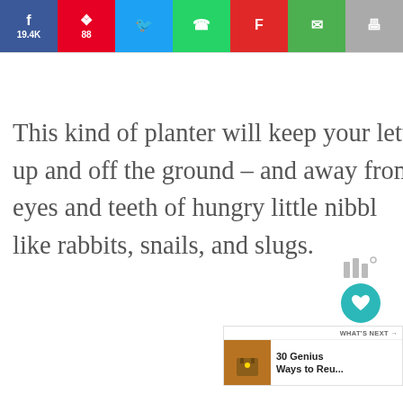[Figure (screenshot): Social sharing bar with Facebook (19.4K), Pinterest (88), Twitter, WhatsApp, Flipboard, Email, and Print buttons]
This kind of planter will keep your lettuce up and off the ground – and away from the eyes and teeth of hungry little nibblers like rabbits, snails, and slugs.
[Figure (infographic): Floating right panel with bar/equalizer icon, teal heart button, 19.5K count, share button, and 'What's Next' widget showing '30 Genius Ways to Reu...']